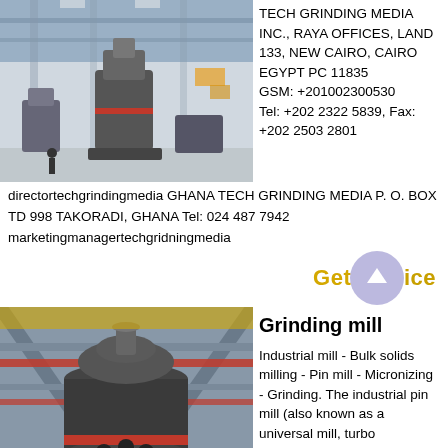[Figure (photo): Industrial grinding mill equipment inside a large factory hall]
TECH GRINDING MEDIA INC., RAYA OFFICES, LAND 133, NEW CAIRO, CAIRO EGYPT PC 11835 GSM: +201002300530 Tel: +202 2322 5839, Fax: +202 2503 2801
directortechgrindingmedia GHANA TECH GRINDING MEDIA P. O. BOX TD 998 TAKORADI, GHANA Tel: 024 487 7942 marketingmanagertechgridningmedia
[Figure (illustration): Get Price button with arrow circle icon in gold/purple]
[Figure (photo): Close-up of a grinding mill machine on scaffolding at a construction/industrial site]
Grinding mill
Industrial mill - Bulk solids milling - Pin mill - Micronizing - Grinding. The industrial pin mill (also known as a universal mill, turbo